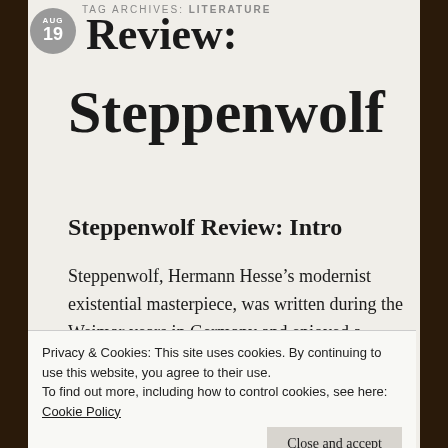TAG ARCHIVES: LITERATURE
Review:
Steppenwolf
Steppenwolf Review: Intro
Steppenwolf, Hermann Hesse’s modernist existential masterpiece, was written during the Weimar years in Germany and enjoyed a considerable resurgence in popularity as a
Privacy & Cookies: This site uses cookies. By continuing to use this website, you agree to their use.
To find out more, including how to control cookies, see here: Cookie Policy
Weimar literature and I read a brief synopsis